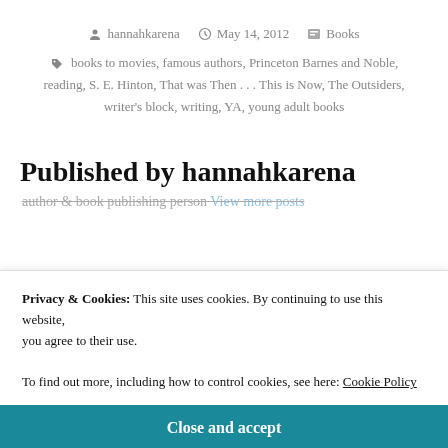hannahkarena  May 14, 2012  Books
books to movies, famous authors, Princeton Barnes and Noble, reading, S. E. Hinton, That was Then . . . This is Now, The Outsiders, writer's block, writing, YA, young adult books
Published by hannahkarena
author & book publishing person  View more posts
Privacy & Cookies: This site uses cookies. By continuing to use this website, you agree to their use.
To find out more, including how to control cookies, see here: Cookie Policy
Close and accept